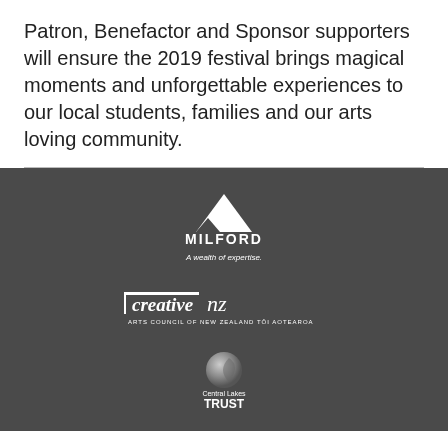Patron, Benefactor and Sponsor supporters will ensure the 2019 festival brings magical moments and unforgettable experiences to our local students, families and our arts loving community.
[Figure (logo): Milford 'A wealth of expertise.' logo — white triangle mountain shape above bold white text 'MILFORD' and tagline 'A wealth of expertise.' on dark background]
[Figure (logo): Creative NZ Arts Council of New Zealand Toi Aotearoa logo — bold italic 'creative' with 'nz' script on dark background]
[Figure (logo): Central Lakes TRUST logo — grey circular lens/orb icon above text 'Central Lakes TRUST' on dark background]
[Figure (logo): OTAGO Community Trust logo — white circular dot-pattern icon beside bold white 'OTAGO' and smaller 'Community Trust' text on dark background]